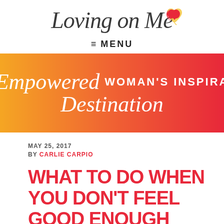[Figure (logo): Loving on Me logo with cursive script text and a red/gold heart balloon icon]
≡  MENU
[Figure (infographic): Orange to red gradient banner reading: THE Empowered WOMAN'S INSPIRATION Destination]
MAY 25, 2017
BY CARLIE CARPIO
WHAT TO DO WHEN YOU DON'T FEEL GOOD ENOUGH